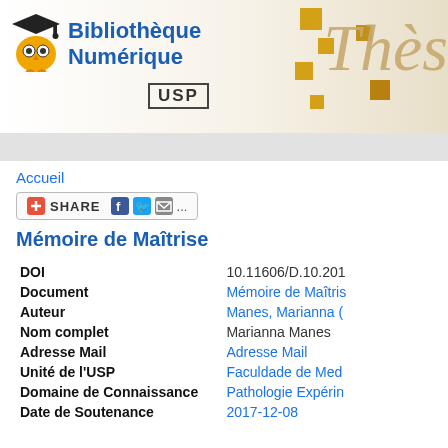Bibliothèque Numérique USP
Accueil
SHARE
Mémoire de Maîtrise
| Field | Value |
| --- | --- |
| DOI | 10.11606/D.10.201... |
| Document | Mémoire de Maîtris... |
| Auteur | Manes, Marianna (... |
| Nom complet | Marianna Manes |
| Adresse Mail | Adresse Mail |
| Unité de l'USP | Faculdade de Med... |
| Domaine de Connaissance | Pathologie Expérin... |
| Date de Soutenance | 2017-12-08 |